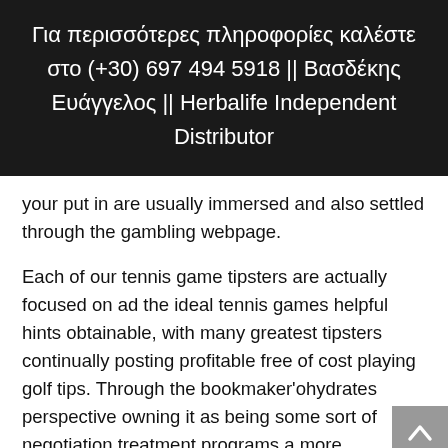Για περισσότερες πληροφορίες καλέστε στο (+30) 697 494 5918 || Βασδέκης Ευάγγελος || Herbalife Independent Distributor
your put in are usually immersed and also settled through the gambling webpage.
Each of our tennis game tipsters are actually focused on ad the ideal tennis games helpful hints obtainable, with many greatest tipsters continually posting profitable free of cost playing golf tips. Through the bookmaker'ohydrates perspective owning it as being some sort of negotiation treatment programs a more significant a higher level believability in addition to adhesiveness to help restrictions. No matter category of football you are planning to option with, a lot of our tennis games tipsters you probably have engrossed in free of